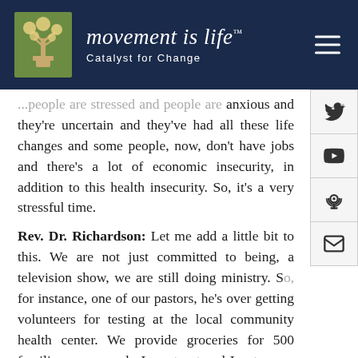movement is life™ — Catalyst for Change
...people are stressed and people are anxious and they're uncertain and they've had all these life changes and some people, now, don't have jobs and there's a lot of economic insecurity, in addition to this health insecurity. So, it's a very stressful time.
Rev. Dr. Richardson: Let me add a little bit to this. We are not just committed to being, a television show, we are still doing ministry. So, for instance, one of our pastors, he's over getting volunteers for testing at the local community health center. We provide groceries for 500 families every week. I went out and I got a guy in Idaho who I knew, his whole family